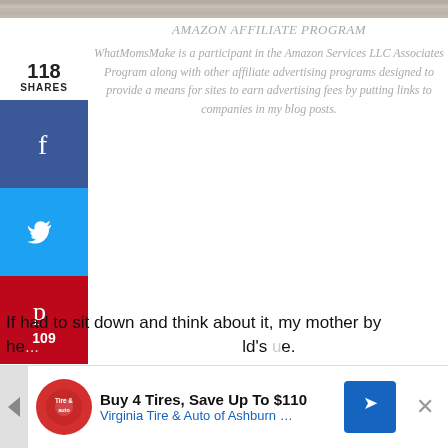[Figure (photo): Top image strip showing a textured background (wood or fabric), cropped to a thin horizontal band.]
118
SHARES
[Figure (infographic): Social sharing sidebar with Facebook (f icon), Twitter (bird icon), and Pinterest (p icon with 109) buttons.]
AMAZON AFFILIATE PROGRAM WhatMomsMake is a participant in the Amazon Services LLC Associates Program along with other affiliate advertising programs designed to provide a means for sites to earn advertising fees by putting links to companies in my blog posts.
If had to sit down and think about it, my mother by he... ld's ue.
[Figure (infographic): Advertisement banner: Buy 4 Tires, Save Up To $110 – Virginia Tire & Auto of Ashburn ... with a Tire Auto logo and blue directional sign icon. Has a close (X) button on the right.]